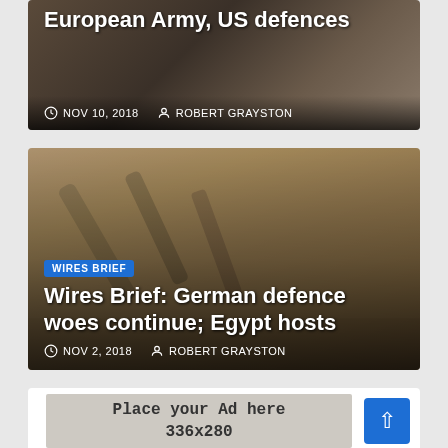[Figure (photo): Top article card showing partial headline 'European Army, US defences' with a dark photo of people at a signing ceremony, dated NOV 10, 2018 by ROBERT GRAYSTON]
NOV 10, 2018  ROBERT GRAYSTON
[Figure (photo): Article card with sepia-toned historical photo of artillery cannons and soldiers. Tagged 'WIRES BRIEF'. Headline: 'Wires Brief: German defence woes continue; Egypt hosts'. Dated NOV 2, 2018 by ROBERT GRAYSTON]
WIRES BRIEF
Wires Brief: German defence woes continue; Egypt hosts
NOV 2, 2018  ROBERT GRAYSTON
[Figure (other): Advertisement placeholder box reading 'Place your Ad here 336x280']